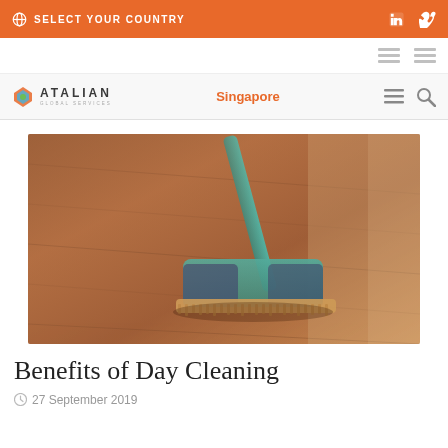SELECT YOUR COUNTRY
[Figure (logo): Atalian Global Services logo with colorful icon and text]
Singapore
[Figure (photo): Close-up photo of a blue and teal flat mop on a wooden floor, with a teal handle]
Benefits of Day Cleaning
27 September 2019